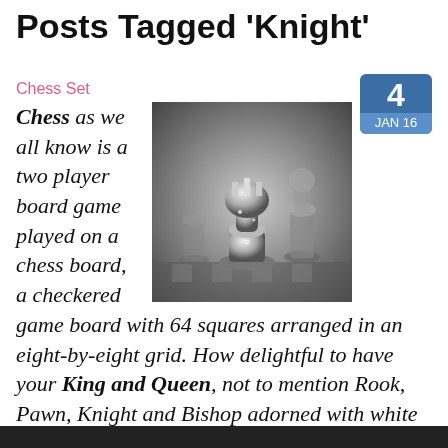Posts Tagged 'Knight'
Chess Set
[Figure (photo): Black and white photograph of crystal/glass chess pieces on a chess board, with a knight piece prominently visible]
Chess as we all know is a two player board game played on a chess board, a checkered game board with 64 squares arranged in an eight-by-eight grid. How delightful to have your King and Queen, not to mention Rook, Pawn, Knight and Bishop adorned with white and black diamonds. I can certainly say it would heighten this abstract strategy game!